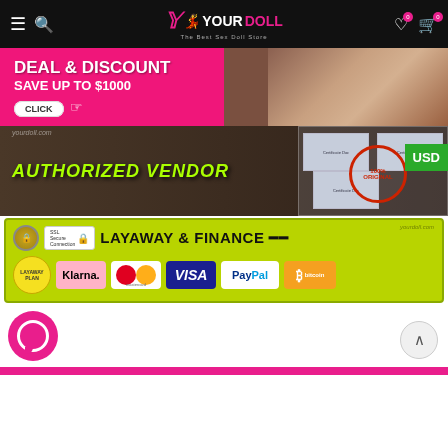YourDoll - The Best Sex Doll Store navigation bar
[Figure (screenshot): Deal & Discount banner - Save up to $1000 with Click button]
[Figure (screenshot): Authorized Vendor banner with 100% Original stamp and USD badge]
[Figure (screenshot): Layaway & Finance banner with payment options: Layaway Plan, Klarna, Mastercard, Visa, PayPal, Bitcoin]
[Figure (screenshot): Chat bubble icon and scroll-to-top button at bottom of page]